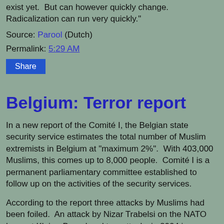exist yet.  But can however quickly change.  Radicalization can run very quickly."
Source: Parool (Dutch)
Permalink: 5:29 AM
Share
Belgium: Terror report
In a new report of the Comité I, the Belgian state security service estimates the total number of Muslim extremists in Belgium at "maximum 2%".  With 403,000 Muslims, this comes up to 8,000 people.  Comité I is a permanent parliamentary committee established to follow up on the activities of the security services.
According to the report three attacks by Muslims had been foiled.  An attack by Nizar Trabelsi on the NATO base at Kleine-Brogel and two attacks in 2004 in Antwerp, one on a Jewish school and one at the opening ceremony of the HST